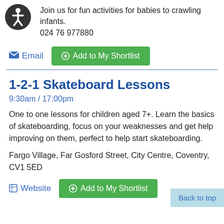Join us for fun activities for babies to crawling infants.
024 76 977880
Email   Add to My Shortlist
1-2-1 Skateboard Lessons
9:30am / 17:00pm
One to one lessons for children aged 7+. Learn the basics of skateboarding, focus on your weaknesses and get help improving on them, perfect to help start skateboarding.
Fargo Village, Far Gosford Street, City Centre, Coventry, CV1 5ED
Website   Add to My Shortlist